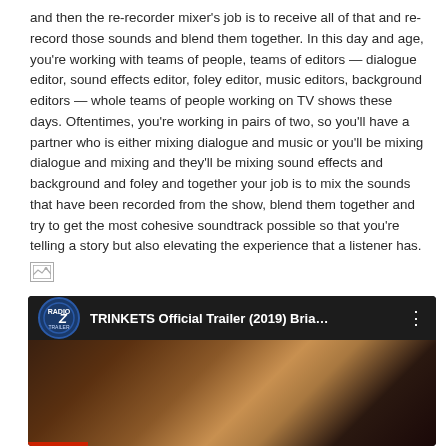and then the re-recorder mixer's job is to receive all of that and re-record those sounds and blend them together. In this day and age, you're working with teams of people, teams of editors — dialogue editor, sound effects editor, foley editor, music editors, background editors — whole teams of people working on TV shows these days. Oftentimes, you're working in pairs of two, so you'll have a partner who is either mixing dialogue and music or you'll be mixing dialogue and mixing and they'll be mixing sound effects and background and foley and together your job is to mix the sounds that have been recorded from the show, blend them together and try to get the most cohesive soundtrack possible so that you're telling a story but also elevating the experience that a listener has.
[Figure (other): Broken image placeholder icon]
[Figure (screenshot): YouTube video thumbnail showing TRINKETS Official Trailer (2019) Bria... with Radio Z Trailer logo and two people visible in the thumbnail]